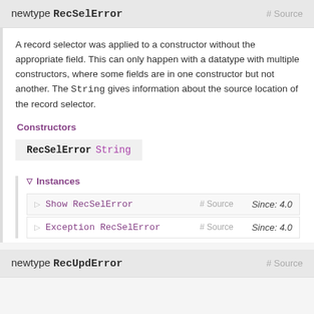newtype RecSelError # Source
A record selector was applied to a constructor without the appropriate field. This can only happen with a datatype with multiple constructors, where some fields are in one constructor but not another. The String gives information about the source location of the record selector.
Constructors
RecSelError String
▽ Instances
|  | Instance | Source | Since |
| --- | --- | --- | --- |
| ▷ | Show RecSelError | # Source | Since: 4.0 |
| ▷ | Exception RecSelError | # Source | Since: 4.0 |
newtype RecUpdError # Source